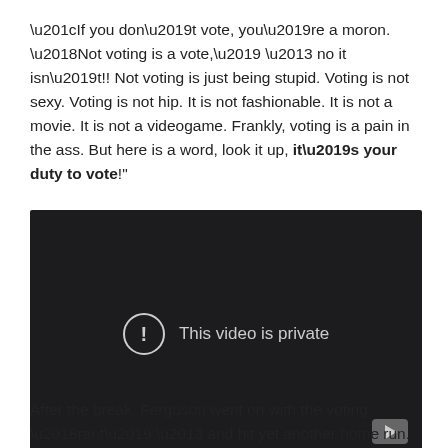“If you don’t vote, you’re a moron. ‘Not voting is a vote,’ – no it isn’t!! Not voting is just being stupid. Voting is not sexy. Voting is not hip. It is not fashionable. It is not a movie. It is not a videogame. Frankly, voting is a pain in the ass. But here is a word, look it up, it’s your duty to vote!”
[Figure (screenshot): Embedded video player showing 'This video is private' message with exclamation icon and YouTube logo in bottom right corner. Dark background.]
After the break, Ferguson went on with the voting ‘rant’ – and hit yet another home run.